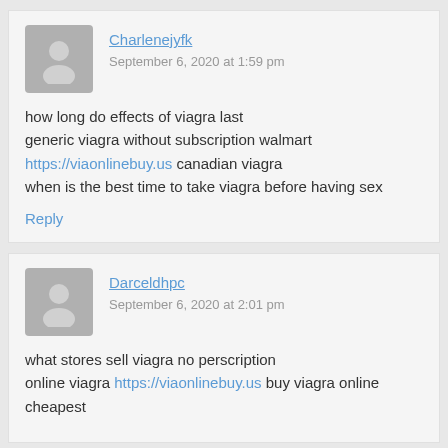Charlenejyfk
September 6, 2020 at 1:59 pm
how long do effects of viagra last
generic viagra without subscription walmart
https://viaonlinebuy.us canadian viagra
when is the best time to take viagra before having sex
Reply
Darceldhpc
September 6, 2020 at 2:01 pm
what stores sell viagra no perscription
online viagra https://viaonlinebuy.us buy viagra online cheapest